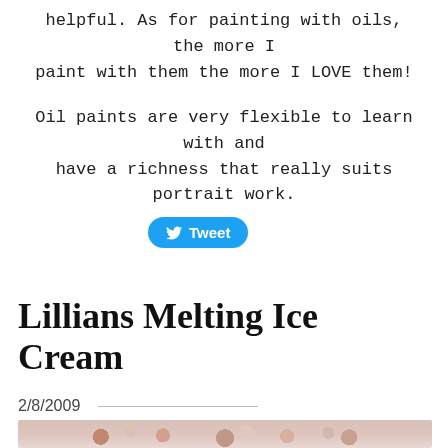helpful. As for painting with oils, the more I paint with them the more I LOVE them!
Oil paints are very flexible to learn with and have a richness that really suits portrait work.
[Figure (other): Twitter Tweet button with bird icon]
Lillians Melting Ice Cream
2/8/2009
[Figure (photo): Bottom portion of a painting showing pink and cream tones, appears to be the Lillians Melting Ice Cream artwork]